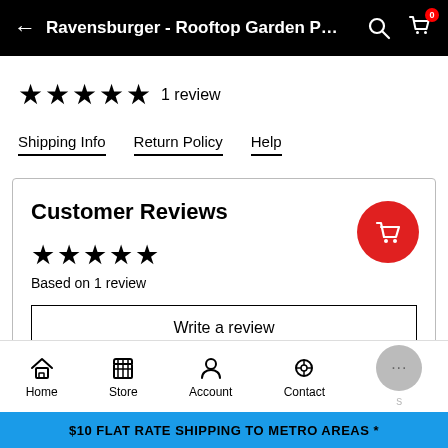Ravensburger - Rooftop Garden P…
★★★★★ 1 review
Shipping Info   Return Policy   Help
Customer Reviews
★★★★★ Based on 1 review
Write a review
Home  Store  Account  Contact
$10 FLAT RATE SHIPPING TO METRO AREAS *